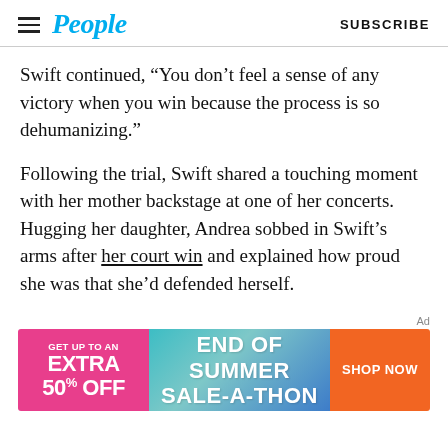People | SUBSCRIBE
Swift continued, “You don’t feel a sense of any victory when you win because the process is so dehumanizing.”
Following the trial, Swift shared a touching moment with her mother backstage at one of her concerts. Hugging her daughter, Andrea sobbed in Swift’s arms after her court win and explained how proud she was that she’d defended herself.
[Figure (other): Advertisement banner: pink left section reading GET UP TO AN EXTRA 50% OFF, teal/blue center section reading END OF SUMMER SALE-A-THON, orange right button reading SHOP NOW]